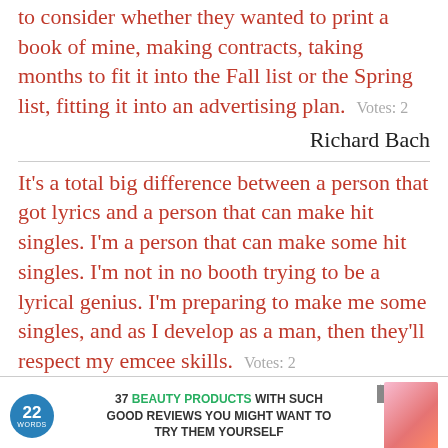to consider whether they wanted to print a book of mine, making contracts, taking months to fit it into the Fall list or the Spring list, fitting it into an advertising plan.   Votes: 2
Richard Bach
It's a total big difference between a person that got lyrics and a person that can make hit singles. I'm a person that can make some hit singles. I'm not in no booth trying to be a lyrical genius. I'm preparing to make me some singles, and as I develop as a man, then they'll respect my emcee skills.   Votes: 2
[Figure (screenshot): Advertisement banner: 22 Words logo with text '37 BEAUTY PRODUCTS WITH SUCH GOOD REVIEWS YOU MIGHT WANT TO TRY THEM YOURSELF' with a product image and a CLOSE button]
I heard on public radio recently, there's a thing called Weed Dating. Singles get together in a